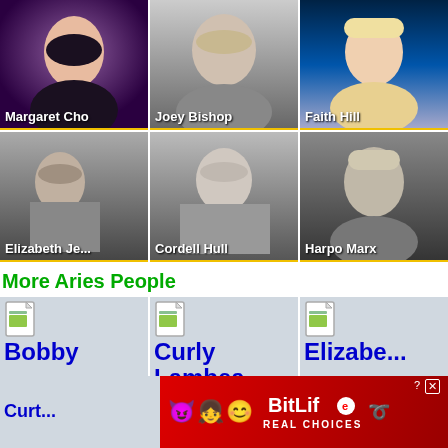[Figure (photo): Margaret Cho celebrity photo card with name label]
[Figure (photo): Joey Bishop celebrity photo card with name label]
[Figure (photo): Faith Hill celebrity photo card with name label]
[Figure (photo): Elizabeth Je... celebrity photo card with name label]
[Figure (photo): Cordell Hull celebrity photo card with name label]
[Figure (photo): Harpo Marx celebrity photo card with name label]
More Aries People
[Figure (illustration): Bobby [name card with file icon]]
[Figure (illustration): Curly Lambea... [name card with file icon]]
[Figure (illustration): Elizabe... [name card with file icon]]
[Figure (screenshot): Ad banner - BitLife Real Choices with emoji characters, Bobby Cu... label bottom left]